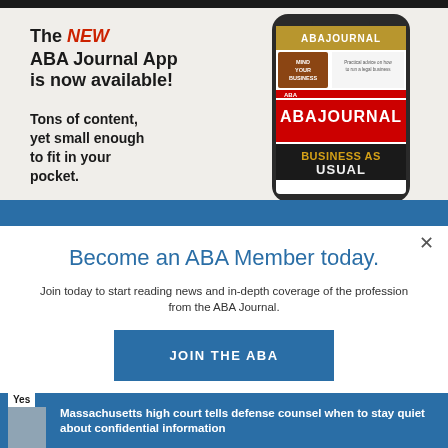[Figure (screenshot): Advertisement for the ABA Journal App showing text 'The NEW ABA Journal App is now available! Tons of content, yet small enough to fit in your pocket.' alongside a smartphone displaying the ABA Journal app with magazine covers including 'Mind Your Business' and 'Business as Usual' issues.]
Become an ABA Member today.
Join today to start reading news and in-depth coverage of the profession from the ABA Journal.
JOIN THE ABA
Already an ABA Member? Sign in
Yes Massachusetts high court tells defense counsel when to stay quiet about confidential information